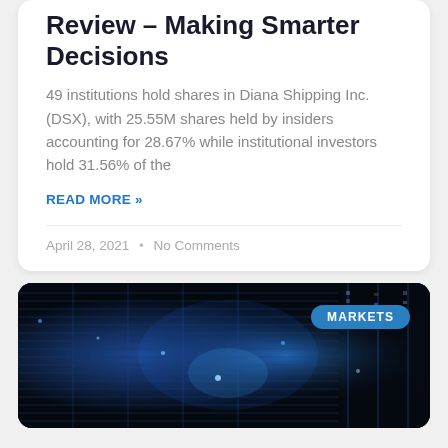Review – Making Smarter Decisions
49 institutions hold shares in Diana Shipping Inc. (DSX), with 25.55M shares held by insiders accounting for 28.67% while institutional investors hold 31.56% of the
READ MORE »
April 28, 2021  •  No Comments
[Figure (photo): Dark blue server rack technology image with a 'MARKETS' badge in the upper right corner]